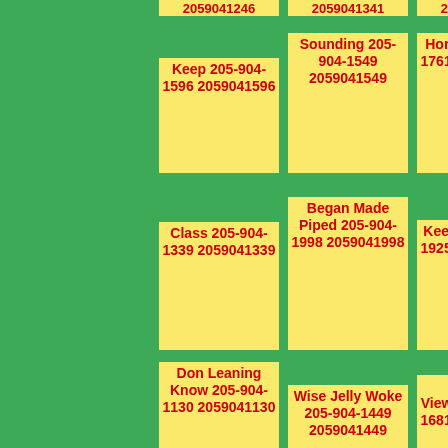2059041246  2059041341  2059041493
Keep 205-904-1596 2059041596
Sounding 205-904-1549 2059041549
Horror 205-904-1761 2059041761
Class 205-904-1339 2059041339
Began Made Piped 205-904-1998 2059041998
Keeper 205-904-1925 2059041925
Don Leaning Know 205-904-1130 2059041130
Wise Jelly Woke 205-904-1449 2059041449
Powders Viewers 205-904-1681 2059041681
Strictly Door